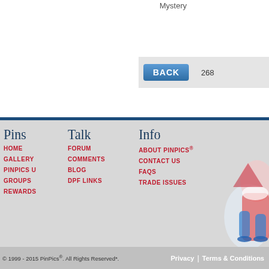Mystery
268
Pins | Talk | Info | HOME | GALLERY | PINPICS U | GROUPS | REWARDS | FORUM | COMMENTS | BLOG | DPF LINKS | ABOUT PINPICS® | CONTACT US | FAQS | TRADE ISSUES
© 1999 - 2015 PinPics®. All Rights Reserved*. Privacy | Terms & Conditions